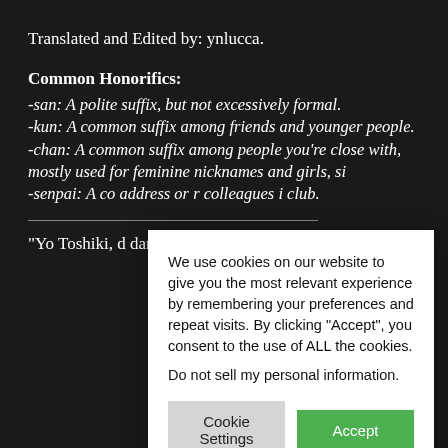Translated and Edited by: ynlucca.
Common Honorifics:
-san: A polite suffix, but not excessively formal.
-kun: A common suffix among friends and younger people.
-chan: A common suffix among people you're close with, mostly used for feminine nicknames and girls, si[nce]
-senpai: A co[mmon suffix used to] address or r[efer to older] colleagues i[n a school or] club.
“Yo Toshiki, d[...] dangerous?”
[Figure (screenshot): Cookie consent popup overlay on a dark background reading: We use cookies on our website to give you the most relevant experience by remembering your preferences and repeat visits. By clicking “Accept”, you consent to the use of ALL the cookies. Do not sell my personal information. Buttons: Cookie Settings, Accept.]